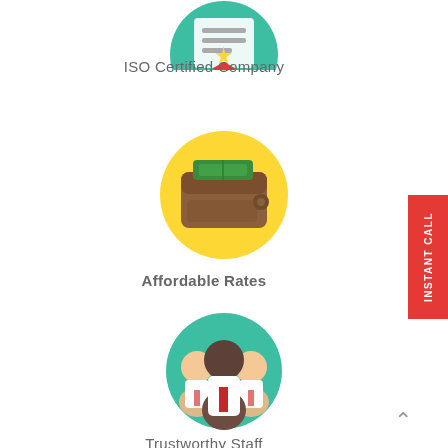[Figure (illustration): Teal circle icon with ISO certificate/award icon (partially visible at top)]
ISO Certified Company
[Figure (illustration): Yellow circle icon with a brown wallet containing green money bills]
Affordable Rates
[Figure (illustration): Teal circle icon with three business people (team/staff group illustration)]
Trustworthy Staff